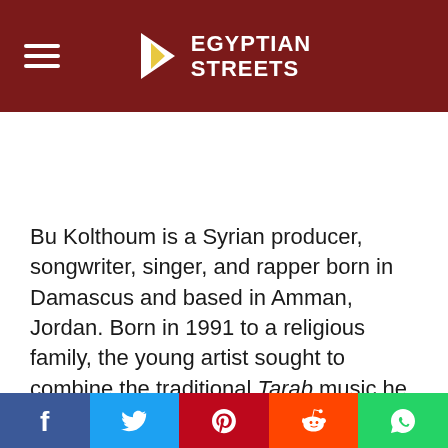EGYPTIAN STREETS
Bu Kolthoum is a Syrian producer, songwriter, singer, and rapper born in Damascus and based in Amman, Jordan. Born in 1991 to a religious family, the young artist sought to combine the traditional Tarab music he often heard growing up with the hip hop and R&B sounds he heard elsewhere.
Bu Kolthoum’s music is best described as soulful, the lyrics often full of vulnerable expressions relevant to his own life. His tracks are known for their use of